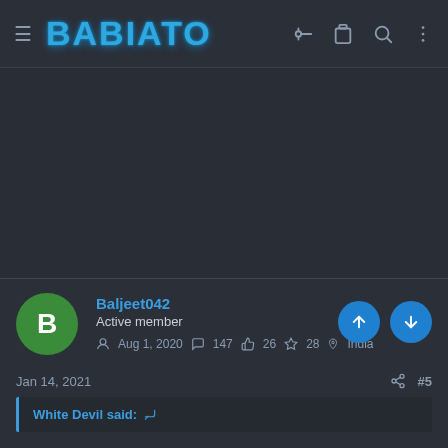BABIATO
[Figure (other): Dark background advertisement/content area (empty)]
Baljeet042
Active member
Aug 1, 2020  147  26  28  India
Jan 14, 2021  #5
White Devil said: